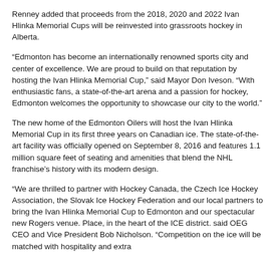Renney added that proceeds from the 2018, 2020 and 2022 Ivan Hlinka Memorial Cups will be reinvested into grassroots hockey in Alberta.
“Edmonton has become an internationally renowned sports city and center of excellence. We are proud to build on that reputation by hosting the Ivan Hlinka Memorial Cup,” said Mayor Don Iveson. “With enthusiastic fans, a state-of-the-art arena and a passion for hockey, Edmonton welcomes the opportunity to showcase our city to the world.”
The new home of the Edmonton Oilers will host the Ivan Hlinka Memorial Cup in its first three years on Canadian ice. The state-of-the-art facility was officially opened on September 8, 2016 and features 1.1 million square feet of seating and amenities that blend the NHL franchise’s history with its modern design.
“We are thrilled to partner with Hockey Canada, the Czech Ice Hockey Association, the Slovak Ice Hockey Federation and our local partners to bring the Ivan Hlinka Memorial Cup to Edmonton and our spectacular new Rogers venue. Place, in the heart of the ICE district. said OEG CEO and Vice President Bob Nicholson. “Competition on the ice will be matched with hospitality and extra